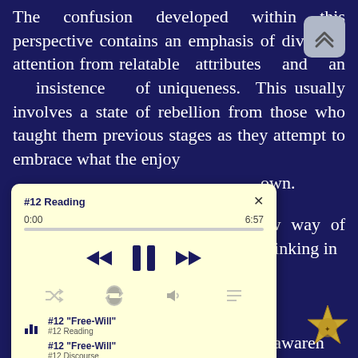The confusion developed within this perspective contains an emphasis of diverting attention from relatable attributes and an insistence of uniqueness. This usually involves a state of rebellion from those who taught them previous stages as they attempt to embrace what the enjoy as their own.
[Figure (screenshot): Audio player popup overlay showing '#12 Reading' with time 0:00 / 6:57, playback controls (rewind, pause, fast-forward), shuffle/repeat/volume/playlist icons, and two tracks listed: '#12 "Free-Will"' under '#12 Reading' and '#12 "Free-Will"' under '#12 Discourse']
...ew way of thinking in a physicality, it enforces reaction to it's construct ately teaching specific a way of thinking isolated to its own awareness